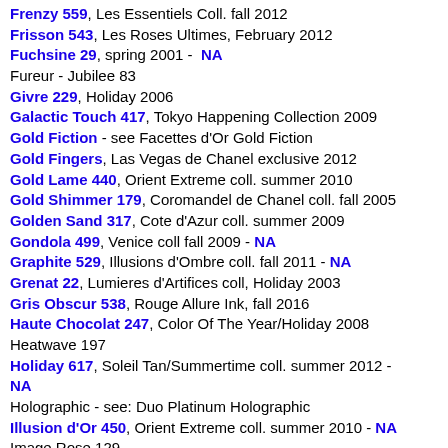Frenzy 559, Les Essentiels Coll. fall 2012
Frisson 543, Les Roses Ultimes, February 2012
Fuchsine 29, spring 2001 - NA
Fureur - Jubilee 83
Givre 229, Holiday 2006
Galactic Touch 417, Tokyo Happening Collection 2009
Gold Fiction - see Facettes d'Or Gold Fiction
Gold Fingers, Las Vegas de Chanel exclusive 2012
Gold Lame 440, Orient Extreme coll. summer 2010
Gold Shimmer 179, Coromandel de Chanel coll. fall 2005
Golden Sand 317, Cote d'Azur coll. summer 2009
Gondola 499, Venice coll fall 2009 - NA
Graphite 529, Illusions d'Ombre coll. fall 2011 - NA
Grenat 22, Lumieres d'Artifices coll, Holiday 2003
Gris Obscur 538, Rouge Allure Ink, fall 2016
Haute Chocolat 247, Color Of The Year/Holiday 2008
Heatwave 197
Holiday 617, Soleil Tan/Summertime coll. summer 2012 - NA
Holographic - see: Duo Platinum Holographic
Illusion d'Or 450, Orient Extreme coll. summer 2010 - NA
Image Rose 129